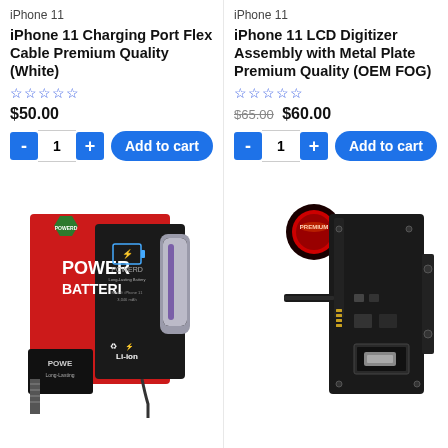iPhone 11
iPhone 11 Charging Port Flex Cable Premium Quality (White)
★★★★★ (0 reviews)
$50.00
iPhone 11
iPhone 11 LCD Digitizer Assembly with Metal Plate Premium Quality (OEM FOG)
★★★★★ (0 reviews)
$65.00 $60.00
[Figure (photo): Battery product box - POWERD brand Li-ion battery for iPhone 11 with packaging showing red and black box and loose battery cell]
[Figure (photo): iPhone 11 charging port flex cable component with PREMIUM badge shown as a dark circuit board part]